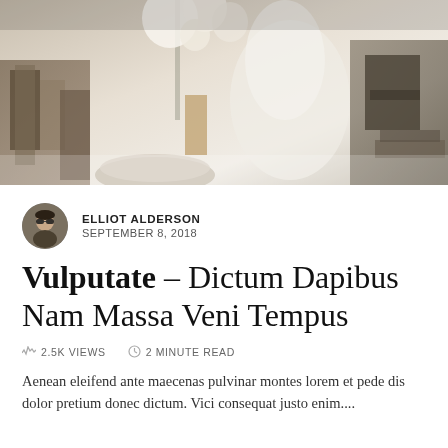[Figure (photo): Hero image of a stylish interior scene with white flowers, books, and neutral tones]
ELLIOT ALDERSON
SEPTEMBER 8, 2018
Vulputate — Dictum Dapibus Nam Massa Veni Tempus
2.5K VIEWS   2 MINUTE READ
Aenean eleifend ante maecenas pulvinar montes lorem et pede dis dolor pretium donec dictum. Vici consequat justo enim....